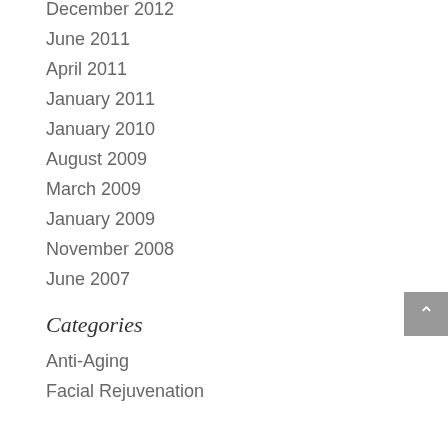December 2012
June 2011
April 2011
January 2011
January 2010
August 2009
March 2009
January 2009
November 2008
June 2007
Categories
Anti-Aging
Facial Rejuvenation